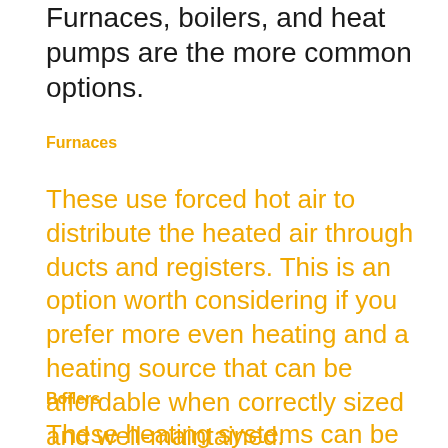Furnaces, boilers, and heat pumps are the more common options.
Furnaces
These use forced hot air to distribute the heated air through ducts and registers. This is an option worth considering if you prefer more even heating and a heating source that can be affordable when correctly sized and well-maintained.
Boilers
These heating systems can be a smart